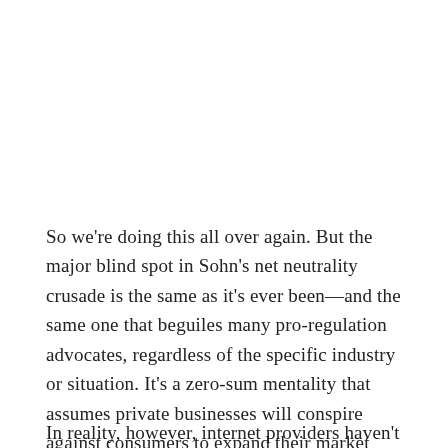So we're doing this all over again. But the major blind spot in Sohn's net neutrality crusade is the same as it's ever been—and the same one that beguiles many pro-regulation advocates, regardless of the specific industry or situation. It's a zero-sum mentality that assumes private businesses will conspire against consumers to expand their market share in the absence of direct government regulation.
In reality, however, internet providers haven't spent the